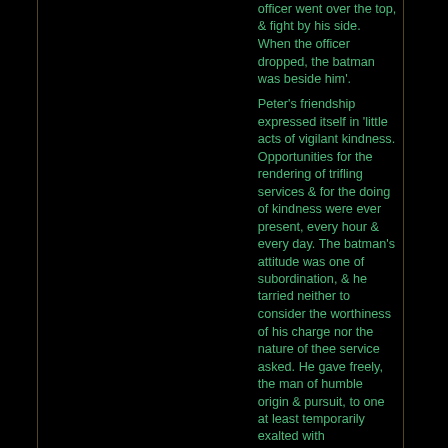officer went over the top, & fight by his side. When the officer dropped, the batman was beside him'.
Peter's friendship expressed itself in 'little acts of vigilant kindness. Opportunities for the rendering of trifling services & for the doing of kindness were ever present, every hour & every day. The batman's attitude was one of subordination, & he tarried neither to consider the worthiness of his charge nor the nature of thee service asked. He gave freely, the man of humble origin & pursuit, to one at least temporarily exalted with